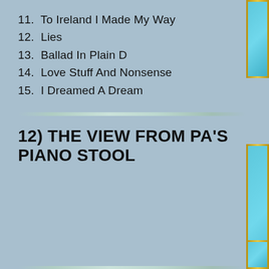11.  To Ireland I Made My Way
12.  Lies
13.  Ballad In Plain D
14.  Love Stuff And Nonsense
15.  I Dreamed A Dream
12) THE VIEW FROM PA'S PIANO STOOL
13) THE GUV'NOR VOLUME 1